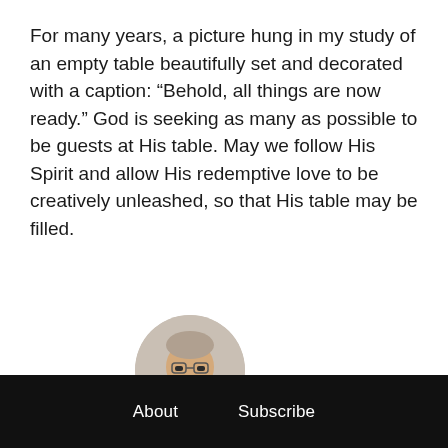For many years, a picture hung in my study of an empty table beautifully set and decorated with a caption: “Behold, all things are now ready.” God is seeking as many as possible to be guests at His table. May we follow His Spirit and allow His redemptive love to be creatively unleashed, so that His table may be filled.
[Figure (photo): Circular portrait photo of Charles W. Christian, a middle-aged man with glasses, smiling, wearing a dark jacket.]
CHARLES W. CHRISTIAN
Managing Editor
About   Subscribe